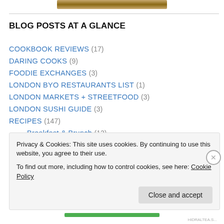[Figure (photo): Partial image at the top of the page, appears to be a food photo with warm brown tones]
BLOG POSTS AT A GLANCE
COOKBOOK REVIEWS (17)
DARING COOKS (9)
FOODIE EXCHANGES (3)
LONDON BYO RESTAURANTS LIST (1)
LONDON MARKETS + STREETFOOD (3)
LONDON SUSHI GUIDE (3)
RECIPES (147)
Breakfast & Brunch (12)
Cakes, Cookies & Bread (16)
Privacy & Cookies: This site uses cookies. By continuing to use this website, you agree to their use. To find out more, including how to control cookies, see here: Cookie Policy